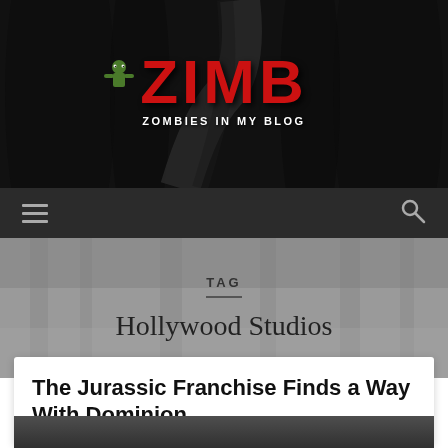[Figure (logo): ZIMB - Zombies In My Blog logo with red splattered text on dark road background]
≡  🔍
TAG
Hollywood Studios
The Jurassic Franchise Finds a Way With Dominion
[Figure (photo): Partial movie still at bottom of page]